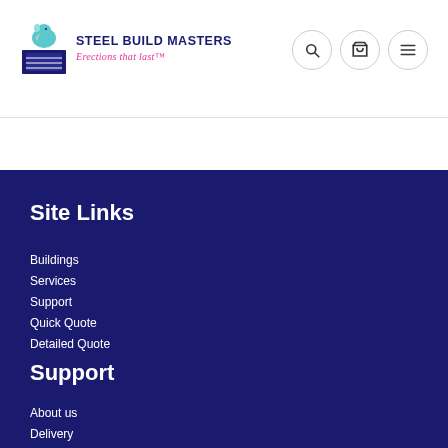Steel Build Masters — Erections that last
Site Links
Buildings
Services
Support
Quick Quote
Detailed Quote
Support
About us
Delivery
Cookie Policy